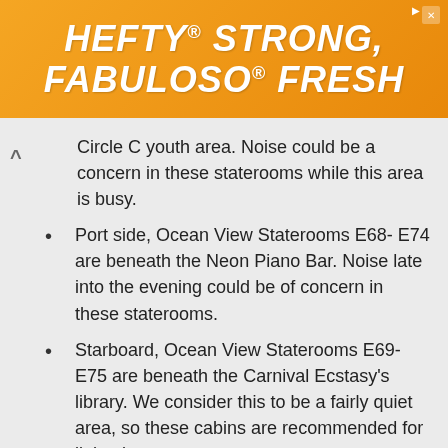[Figure (other): Hefty advertisement banner with orange background showing 'HEFTY STRONG, FABULOSO FRESH' text with Hefty and Fabuloso brand logos]
Circle C youth area. Noise could be a concern in these staterooms while this area is busy.
Port side, Ocean View Staterooms E68- E74 are beneath the Neon Piano Bar. Noise late into the evening could be of concern in these staterooms.
Starboard, Ocean View Staterooms E69- E75 are beneath the Carnival Ecstasy's library. We consider this to be a fairly quiet area, so these cabins are recommended for light sleepers.
E76- E118 port side, E77- E121 starboard, and Interior Staterooms E80- E120 and E81- E123 are beneath the Wind Star dining room. Noise could be a concern while this venue is